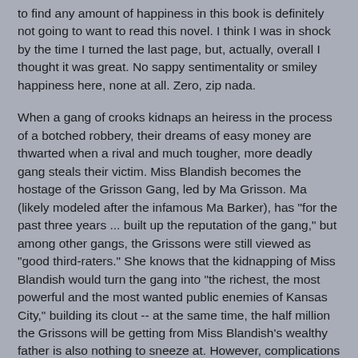to find any amount of happiness in this book is definitely not going to want to read this novel.  I think I was in shock by the time I turned the last page, but, actually, overall I thought it was great.  No sappy sentimentality or smiley happiness here, none at all. Zero, zip nada.
When a gang of crooks kidnaps an heiress in the process of a botched robbery,  their dreams of easy money are thwarted when a rival and much tougher, more deadly gang steals their victim. Miss Blandish becomes the hostage of the Grisson Gang, led by Ma Grisson.  Ma (likely modeled after the infamous Ma Barker), has "for the past three years ... built up the reputation of the gang," but among other gangs, the Grissons were  still viewed as "good third-raters."  She knows that the kidnapping of Miss Blandish would turn the gang into "the richest, the most powerful and the most wanted public enemies of Kansas City," building its clout -- at the same time, the half million the Grissons will be getting from Miss Blandish's wealthy father is also nothing to sneeze at.  However, complications ensue when her son Slim takes a shine to Miss Blandish and wants her for himself.  Slim, who used to torture animals for fun as a child, began to